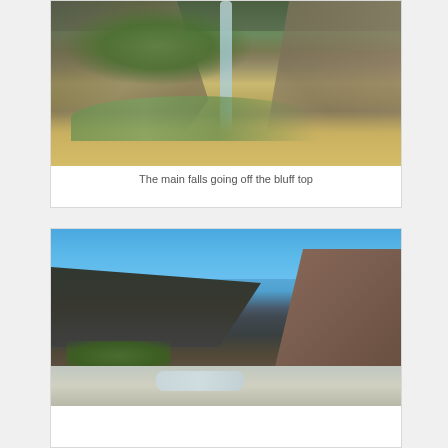[Figure (photo): A waterfall cascading off a bluff top, with green vegetation and shrubs in the foreground and rocky terrain visible on both sides.]
The main falls going off the bluff top
[Figure (photo): A canyon scene with a bright blue sky, dark rocky walls, sparse green vegetation, and a stream or rapids flowing through the rocky canyon bottom.]